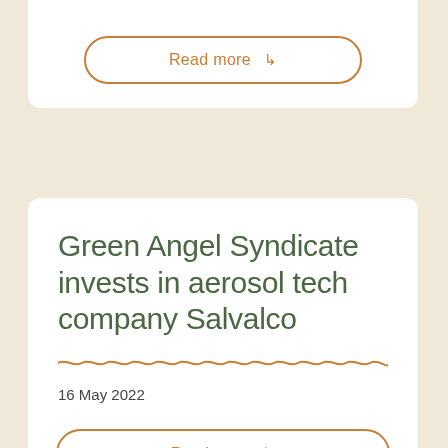Read more →
Green Angel Syndicate invests in aerosol tech company Salvalco
16 May 2022
Read more →